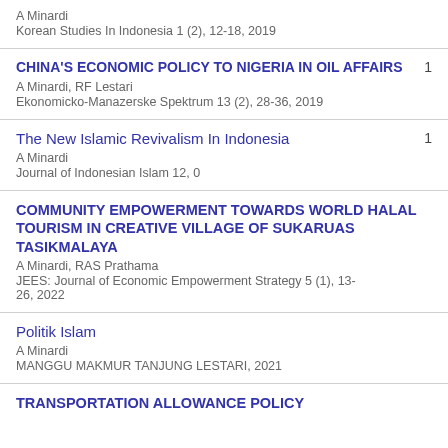A Minardi
Korean Studies In Indonesia 1 (2), 12-18, 2019
CHINA'S ECONOMIC POLICY TO NIGERIA IN OIL AFFAIRS
A Minardi, RF Lestari
Ekonomicko-Manazerske Spektrum 13 (2), 28-36, 2019 [citations: 1]
The New Islamic Revivalism In Indonesia
A Minardi
Journal of Indonesian Islam 12, 0 [citations: 1]
COMMUNITY EMPOWERMENT TOWARDS WORLD HALAL TOURISM IN CREATIVE VILLAGE OF SUKARUAS TASIKMALAYA
A Minardi, RAS Prathama
JEES: Journal of Economic Empowerment Strategy 5 (1), 13-26, 2022
Politik Islam
A Minardi
MANGGU MAKMUR TANJUNG LESTARI, 2021
TRANSPORTATION ALLOWANCE POLICY